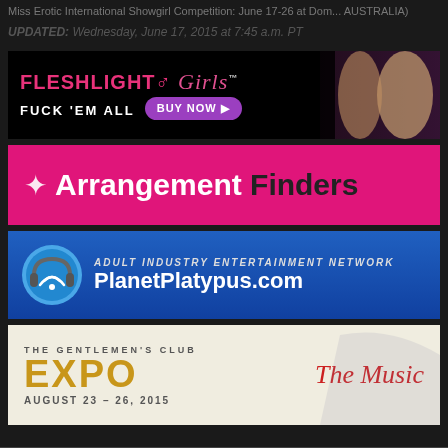Miss Erotic International Showgirl Competition: June 17-26 at Dom... AUSTRALIA)
UPDATED: Wednesday, June 17, 2015 at 7:45 a.m. PT
[Figure (other): Fleshlight Girls advertisement banner - black background with pink logo text, 'FUCK 'EM ALL' tagline, purple BUY NOW button, and models on right]
[Figure (other): Arrangement Finders advertisement banner - bright pink/magenta background with white star logo and bold white/black text]
[Figure (other): PlanetPlatypus.com advertisement banner - blue gradient background with headphone/wifi icon and white bold text: ADULT INDUSTRY ENTERTAINMENT NETWORK]
[Figure (other): The Gentlemen's Club EXPO advertisement - light background with gold EXPO text, red cursive 'The Music' text, and date AUGUST 23-26, 2015]